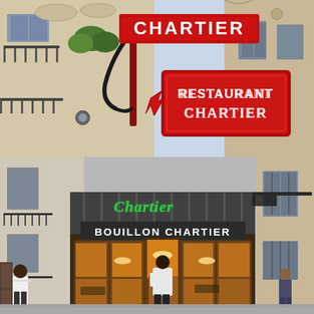[Figure (photo): Close-up photo of the iconic Chartier restaurant signs mounted on a building facade in Paris. A rectangular red sign with white text reading 'CHARTIER' points downward with a red arrow. Behind it, a large ornate red sign reads 'RESTAURANT CHARTIER' in neon-style lettering. The building facade shows classic Haussmann-style architecture with ornate stone carvings and wrought iron balconies.]
[Figure (photo): Exterior view of Bouillon Chartier restaurant entrance in Paris. The storefront features a large wooden and glass facade with warm orange/amber interior lighting visible through the windows. A green neon sign reads 'Chartier' in cursive script above a larger sign reading 'BOUILLON CHARTIER'. A waiter in black and white uniform stands at the entrance. Pedestrians visible on either side of the street.]